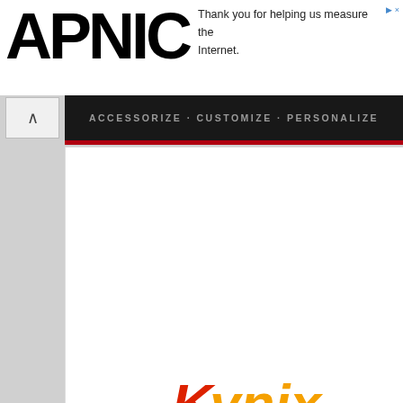[Figure (logo): APNIC logo — large bold black letters 'APNIC']
Thank you for helping us measure the Internet.
[Figure (screenshot): Dark banner with text 'ACCESSORIZE • CUSTOMIZE • PERSONALIZE']
[Figure (logo): Kynix logo — italic bold 'Kynix' with K in red and rest in orange/gold]
[Figure (photo): Right-side advertisement panel showing Kynix branding and a Microchip brand IC chip on blue background]
Electronic Components In S
[Figure (photo): Sunset sky photo with dramatic orange and red clouds at the bottom of the page]